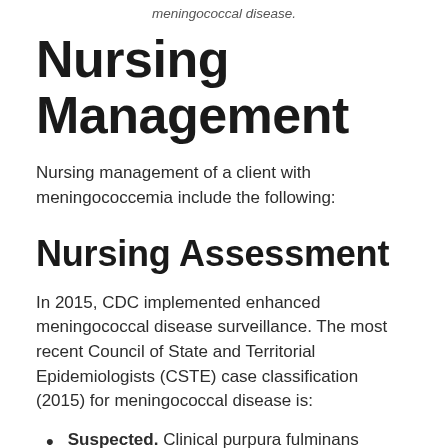meningococcal disease.
Nursing Management
Nursing management of a client with meningococcemia include the following:
Nursing Assessment
In 2015, CDC implemented enhanced meningococcal disease surveillance. The most recent Council of State and Territorial Epidemiologists (CSTE) case classification (2015) for meningococcal disease is:
Suspected. Clinical purpura fulminans